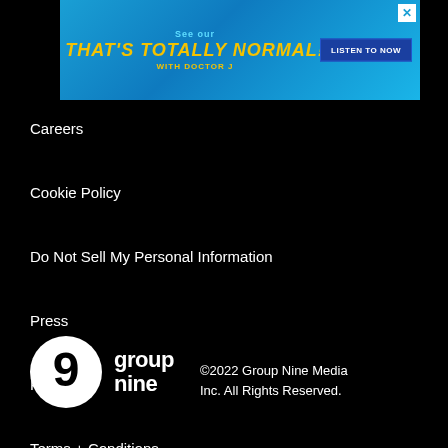[Figure (screenshot): Advertisement banner: 'See our THAT'S TOTALLY NORMAL! WITH DOCTOR J' with a blue gradient background, yellow italic text, and a 'LISTEN TO NOW' button]
Careers
Cookie Policy
Do Not Sell My Personal Information
Press
Privacy
Terms + Conditions
[Figure (logo): Group Nine Media logo: circular '9' icon with 'group nine' text beside it]
©2022 Group Nine Media Inc. All Rights Reserved.